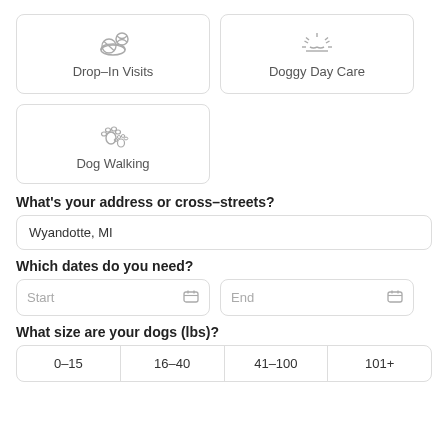[Figure (illustration): Drop-In Visits service card with icon of dog bowl and ball]
[Figure (illustration): Doggy Day Care service card with sunrise/sun icon]
[Figure (illustration): Dog Walking service card with paw prints icon]
What's your address or cross-streets?
Wyandotte, MI
Which dates do you need?
Start
End
What size are your dogs (lbs)?
0–15	16–40	41–100	101+